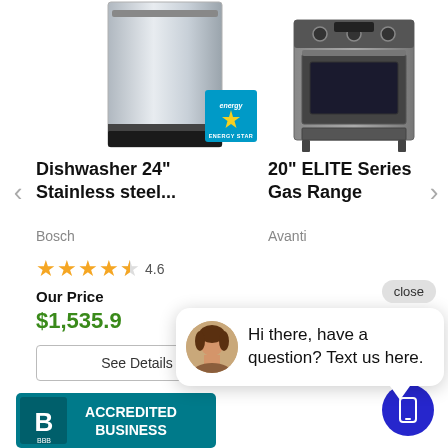[Figure (screenshot): Dishwasher 24 inch stainless steel product image with Energy Star badge]
[Figure (screenshot): 20 inch ELITE Series Gas Range product image]
Dishwasher 24" Stainless steel...
20" ELITE Series Gas Range
Bosch
Avanti
★★★★½ 4.6
Our Price
$1,535.9
See Details
See Details
[Figure (logo): BBB Accredited Business logo with teal background]
Hi there, have a question? Text us here.
close